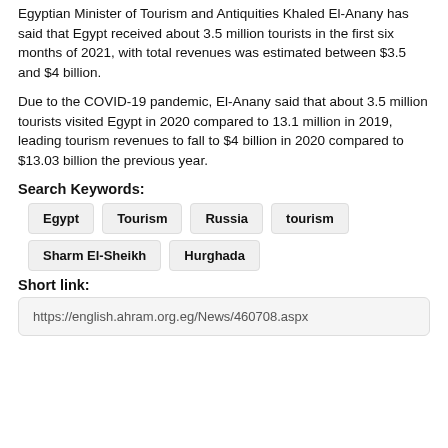Egyptian Minister of Tourism and Antiquities Khaled El-Anany has said that Egypt received about 3.5 million tourists in the first six months of 2021, with total revenues was estimated between $3.5 and $4 billion.
Due to the COVID-19 pandemic, El-Anany said that about 3.5 million tourists visited Egypt in 2020 compared to 13.1 million in 2019, leading tourism revenues to fall to $4 billion in 2020 compared to $13.03 billion the previous year.
Search Keywords:
Egypt
Tourism
Russia
tourism
Sharm El-Sheikh
Hurghada
Short link:
https://english.ahram.org.eg/News/460708.aspx